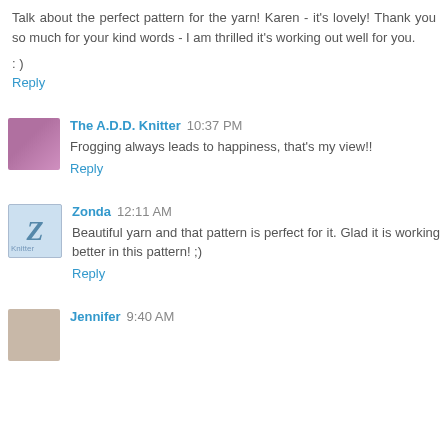Talk about the perfect pattern for the yarn! Karen - it's lovely! Thank you so much for your kind words - I am thrilled it's working out well for you.
: )
Reply
The A.D.D. Knitter  10:37 PM
Frogging always leads to happiness, that's my view!!
Reply
Zonda  12:11 AM
Beautiful yarn and that pattern is perfect for it. Glad it is working better in this pattern! ;)
Reply
Jennifer  9:40 AM